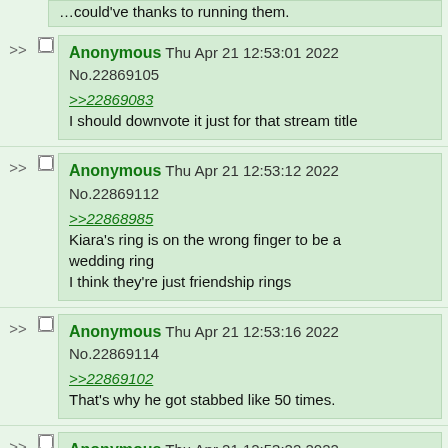[partial post at top - cut off text about running time]
Anonymous Thu Apr 21 12:53:01 2022 No.22869105
>>22869083
I should downvote it just for that stream title
Anonymous Thu Apr 21 12:53:12 2022 No.22869112
>>22868985
Kiara's ring is on the wrong finger to be a wedding ring
I think they're just friendship rings
Anonymous Thu Apr 21 12:53:16 2022 No.22869114
>>22869102
That's why he got stabbed like 50 times.
Anonymous Thu Apr 21 12:53:22 2022 No.22869117
>>22869105
based algorithm booster
Anonymous Thu Apr 21 12:53:22 2022 No.22869124 [partial]